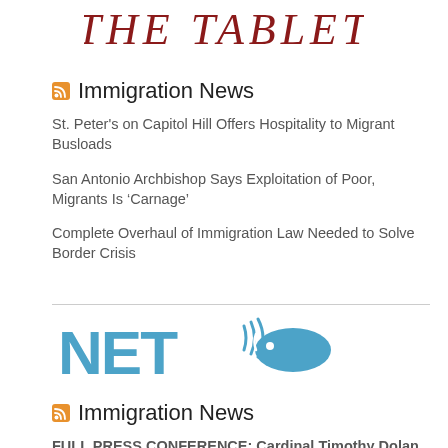[Figure (logo): The Tablet masthead logo in dark red serif italic font]
Immigration News
St. Peter's on Capitol Hill Offers Hospitality to Migrant Busloads
San Antonio Archbishop Says Exploitation of Poor, Migrants Is ‘Carnage’
Complete Overhaul of Immigration Law Needed to Solve Border Crisis
[Figure (logo): NET logo in blue with fish symbol]
Immigration News
FULL PRESS CONFERENCE: Cardinal Timothy Dolan